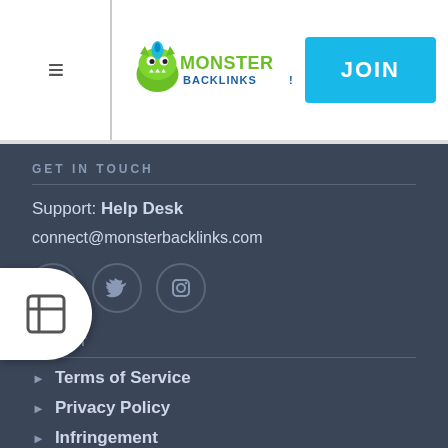[Figure (logo): Monster Backlinks logo with green monster and blue text]
JOIN
GET IN TOUCH
Support: Help Desk
connect@monsterbacklinks.com
[Figure (illustration): Social media icons: Facebook, Twitter, Instagram]
ABOUT
Terms of Service
Privacy Policy
Infringement